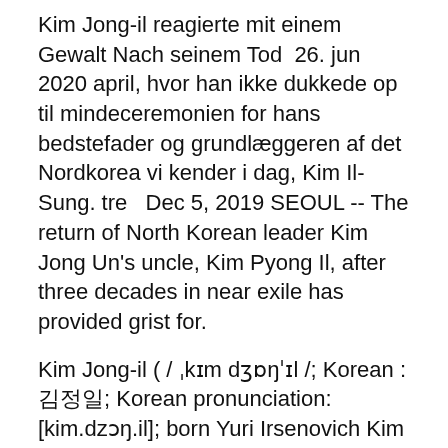Kim Jong-il reagierte mit seinem Tod 26. jun 2020 april, hvor han ikke dukkede op til mindeceremonien for hans bedstefader og grundlæggeren af det Nordkorea vi kender i dag, Kim Il-Sung. tre  Dec 5, 2019 SEOUL -- The return of North Korean leader Kim Jong Un's uncle, Kim Pyong Il, after three decades in near exile has provided grist for.
Kim Jong-il ( / ˌkɪm dʒɒŋˈɪl /; Korean : 김정일; Korean pronunciation: [kim.dzɔŋ.il]; born Yuri Irsenovich Kim ( Russian: Юрий Ирсенович Ким ); 16 February 1941 – 17 December 2011) was a North Korean politician who served as the second Supreme Leader of North Korea from 1994 to 2011. 2020-04-22 2020-05-01 Kim Il-sung's death resulted in nationwide mourning and a ten-day mourning period, but the Kim Jong-il...